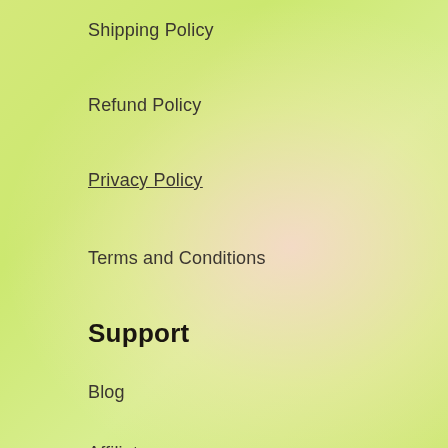Shipping Policy
Refund Policy
Privacy Policy
Terms and Conditions
Support
Blog
Affiliate
APP
Cykapu Amazon Store